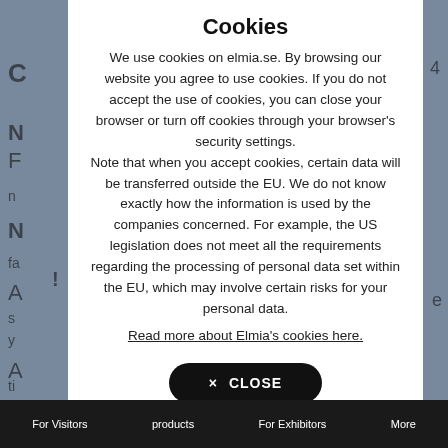Cookies
We use cookies on elmia.se. By browsing our website you agree to use cookies. If you do not accept the use of cookies, you can close your browser or turn off cookies through your browser's security settings.
Note that when you accept cookies, certain data will be transferred outside the EU. We do not know exactly how the information is used by the companies concerned. For example, the US legislation does not meet all the requirements regarding the processing of personal data set within the EU, which may involve certain risks for your personal data.
Read more about Elmia's cookies here.
× CLOSE
For Visitors   products   For Exhibitors   More